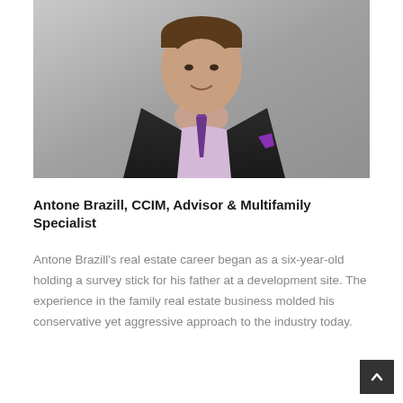[Figure (photo): Professional headshot of Antone Brazill wearing a dark suit with a light purple shirt and purple plaid tie, with a purple pocket square. Background is gray.]
Antone Brazill, CCIM, Advisor & Multifamily Specialist
Antone Brazill's real estate career began as a six-year-old holding a survey stick for his father at a development site. The experience in the family real estate business molded his conservative yet aggressive approach to the industry today.